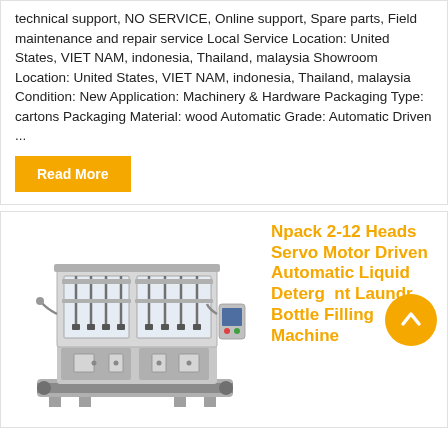technical support, NO SERVICE, Online support, Spare parts, Field maintenance and repair service Local Service Location: United States, VIET NAM, indonesia, Thailand, malaysia Showroom Location: United States, VIET NAM, indonesia, Thailand, malaysia Condition: New Application: Machinery & Hardware Packaging Type: cartons Packaging Material: wood Automatic Grade: Automatic Driven ...
Read More
[Figure (photo): Industrial liquid filling machine with stainless steel frame, multiple filling heads, conveyor belt, and control panel. Npack 2-12 Heads Servo Motor Driven Automatic Liquid Detergent Laundry Bottle Filling Machine.]
Npack 2-12 Heads Servo Motor Driven Automatic Liquid Detergent Laundry Bottle Filling Machine